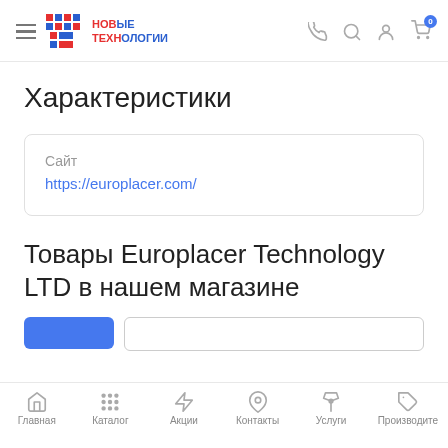НТ НОВЫЕ ТЕХНОЛОГИИ — navigation bar
Характеристики
| Сайт |
| --- |
| https://europlacer.com/ |
Товары Europlacer Technology LTD в нашем магазине
Главная | Каталог | Акции | Контакты | Услуги | Производите